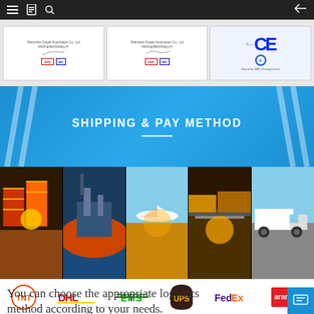[Figure (photo): Navigation bar with hamburger menu, book icon, search icon on left, back arrow on right, dark background]
[Figure (photo): Three certification documents displayed side by side: two Chinese quality certificates and one CE certification mark]
[Figure (infographic): Blue banner with white bold text SHIPPING & PAY METHOD with white underline and diagonal white stripe decorations on sides]
[Figure (photo): Five transport/logistics photos side by side: shipping containers at port, large cargo ship, airplane taking off, freight railway, semi-truck on highway]
[Figure (infographic): Row of courier/logistics company logos: TNT, DHL, EMS, UPS, FedEx, Aramex]
You can choose the appropriate logistics method according to your needs.